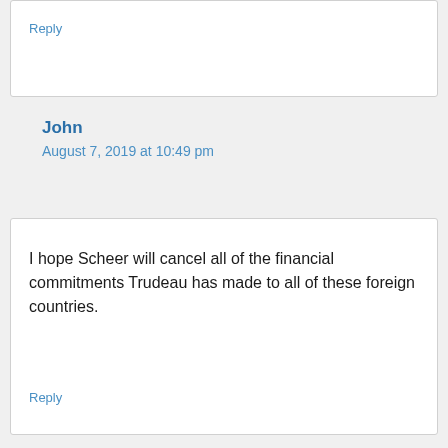Reply
John
August 7, 2019 at 10:49 pm
I hope Scheer will cancel all of the financial commitments Trudeau has made to all of these foreign countries.
Reply